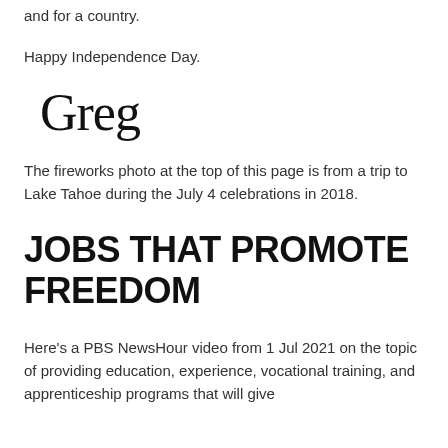and for a country.
Happy Independence Day.
[Figure (illustration): Handwritten cursive signature reading 'Greg']
The fireworks photo at the top of this page is from a trip to Lake Tahoe during the July 4 celebrations in 2018.
JOBS THAT PROMOTE FREEDOM
Here's a PBS NewsHour video from 1 Jul 2021 on the topic of providing education, experience, vocational training, and apprenticeship programs that will give